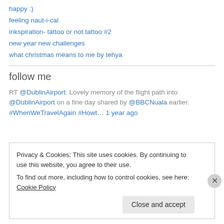happy :)
feeling naut-i-cal
inkspiration- tattoo or not tattoo #2
new year new challenges
what christmas means to me by tehya
follow me
RT @DublinAirport: Lovely memory of the flight path into @DublinAirport on a fine day shared by @BBCNuala earlier. #WhenWeTravelAgain #Howt… 1 year ago
Privacy & Cookies: This site uses cookies. By continuing to use this website, you agree to their use.
To find out more, including how to control cookies, see here: Cookie Policy